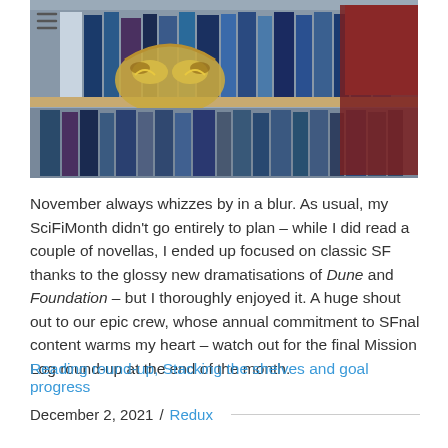[Figure (photo): Photo of a bookshelf with books and a gold masquerade mask resting on a shelf, with a dark red leather chair visible on the right.]
November always whizzes by in a blur. As usual, my SciFiMonth didn't go entirely to plan – while I did read a couple of novellas, I ended up focused on classic SF thanks to the glossy new dramatisations of Dune and Foundation – but I thoroughly enjoyed it. A huge shout out to our epic crew, whose annual commitment to SFnal content warms my heart – watch out for the final Mission Log round-up at the end of the month.
Reading round-up, Stacking the shelves and goal progress
December 2, 2021 / Redux